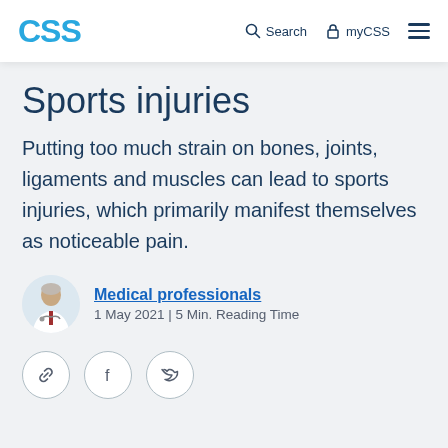CSS | Search | myCSS | menu
Sports injuries
Putting too much strain on bones, joints, ligaments and muscles can lead to sports injuries, which primarily manifest themselves as noticeable pain.
[Figure (photo): Photo of a medical professional, an older man in a white coat using a stethoscope]
Medical professionals
1 May 2021 | 5 Min. Reading Time
[Figure (other): Social sharing buttons: link, Facebook, Twitter]